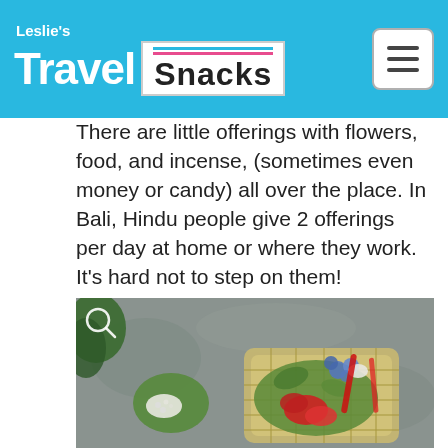Leslie's Travel Snacks
There are little offerings with flowers, food, and incense, (sometimes even money or candy) all over the place. In Bali, Hindu people give 2 offerings per day at home or where they work. It's hard not to step on them!
[Figure (photo): A Balinese Hindu offering (canang sari) consisting of a woven palm leaf tray filled with colorful flowers including red and blue blooms, placed on a stone surface alongside a simple green leaf with white rice offering.]